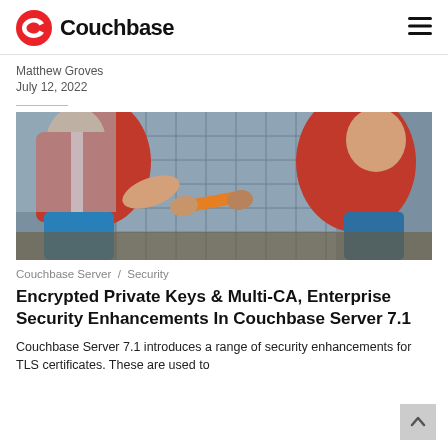Couchbase
Matthew Groves
July 12, 2022
[Figure (photo): Two relay runners in red jerseys passing a baton, with a glass building in the background.]
Couchbase Server / Security
Encrypted Private Keys & Multi-CA, Enterprise Security Enhancements In Couchbase Server 7.1
Couchbase Server 7.1 introduces a range of security enhancements for TLS certificates. These are used to